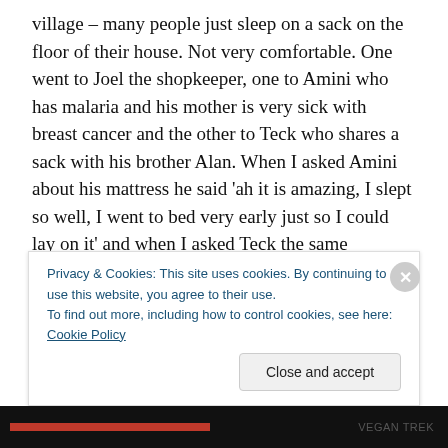village – many people just sleep on a sack on the floor of their house. Not very comfortable. One went to Joel the shopkeeper, one to Amini who has malaria and his mother is very sick with breast cancer and the other to Teck who shares a sack with his brother Alan. When I asked Amini about his mattress he said 'ah it is amazing, I slept so well, I went to bed very early just so I could lay on it' and when I asked Teck the same question his face lit up with a huge grin. The three mattresses only cost £100 in total, so hardly big bucks to make a difference. I also bought some walkmans and a couple of radios for children who had
Privacy & Cookies: This site uses cookies. By continuing to use this website, you agree to their use.
To find out more, including how to control cookies, see here: Cookie Policy
Close and accept